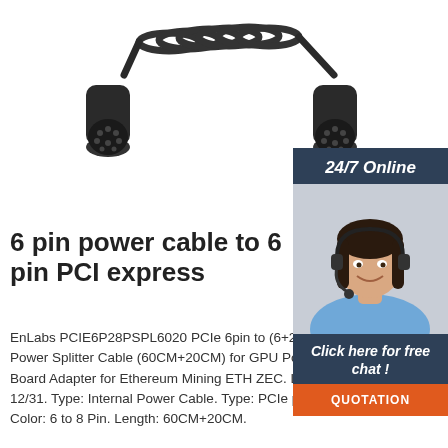[Figure (photo): Photo of a coiled black cable with two large multi-pin circular connectors (one on each end), shown against a white background.]
[Figure (photo): Online chat support widget showing a smiling female customer service agent wearing a headset, with '24/7 Online' header, 'Click here for free chat!' text, and an orange 'QUOTATION' button, on a dark blue-grey background.]
6 pin power cable to 6 pin PCI express
EnLabs PCIE6P28PSPL6020 PCIe 6pin to (6+2) Male to Male PCI-E Power Splitter Cable (60CM+20CM) for GPU Power Supply Breakout Board Adapter for Ethereum Mining ETH ZEC. Limited time offer, ends 12/31. Type: Internal Power Cable. Type: PCIe power cable for mining. Color: 6 to 8 Pin. Length: 60CM+20CM.